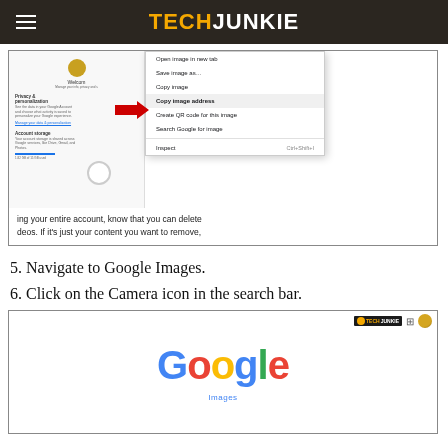TECHJUNKIE
[Figure (screenshot): Screenshot showing a browser context menu with options: Open image in new tab, Save image as..., Copy image, Copy image address (highlighted with red arrow), Create QR code for this image, Search Google for image, Inspect Ctrl+Shift+I. Behind the menu is a Google account settings page. Below shows truncated text: 'ing your entire account, know that you can delete' and 'deos. If it's just your content you want to remove,']
5. Navigate to Google Images.
6. Click on the Camera icon in the search bar.
[Figure (screenshot): Screenshot of Google Images page with the Google logo and 'Images' subtitle visible, along with a TechJunkie watermark in the top right corner.]